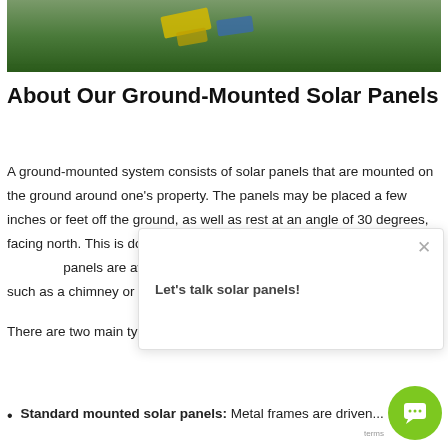[Figure (photo): Aerial or ground-level photo of solar panels installed on grass, with yellow and blue equipment visible]
About Our Ground-Mounted Solar Panels
A ground-mounted system consists of solar panels that are mounted on the ground around one's property. The panels may be placed a few inches or feet off the ground, as well as rest at an angle of 30 degrees, facing north. This is done to maximize solar energy abs...panels are awesome altern...such as a chimney or skylig....
There are two main types of ground-mounted solar pa...
Standard mounted solar panels: Metal frames are driven...